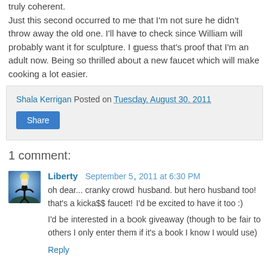truly coherent. Just this second occurred to me that I'm not sure he didn't throw away the old one. I'll have to check since William will probably want it for sculpture. I guess that's proof that I'm an adult now. Being so thrilled about a new faucet which will make cooking a lot easier.
Shala Kerrigan Posted on Tuesday, August 30, 2011
Share
1 comment:
[Figure (photo): Avatar image of commenter Liberty — silhouette of person with arms raised against bright sky]
Liberty September 5, 2011 at 6:30 PM
oh dear... cranky crowd husband. but hero husband too! that's a kicka$$ faucet! I'd be excited to have it too :)
I'd be interested in a book giveaway (though to be fair to others I only enter them if it's a book I know I would use)
Reply